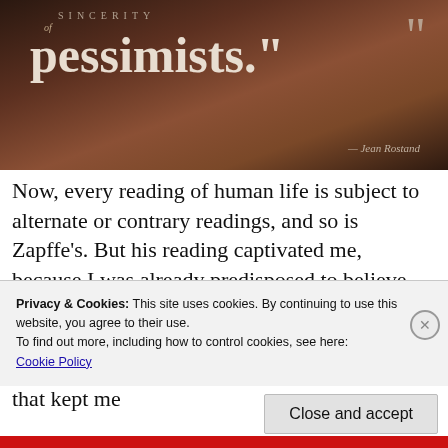[Figure (illustration): Dark reddish-brown gradient background image showing a quote. Text reads: SINCERITY [is the sign] of pessimists." — Jean Rostand. Large quotation marks visible on right.]
Now, every reading of human life is subject to alternate or contrary readings, and so is Zapffe's. But his reading captivated me, because I was already predisposed to believe that life was at best worthless and at worst an intolerable nightmare. In essence, Zapffe's philosophy became another source of bullshit that kept me
Privacy & Cookies: This site uses cookies. By continuing to use this website, you agree to their use.
To find out more, including how to control cookies, see here:
Cookie Policy
Close and accept